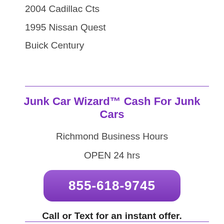2004 Cadillac Cts
1995 Nissan Quest
Buick Century
Junk Car Wizard™ Cash For Junk Cars
Richmond Business Hours
OPEN 24 hrs
855-618-9745
Call or Text for an instant offer.